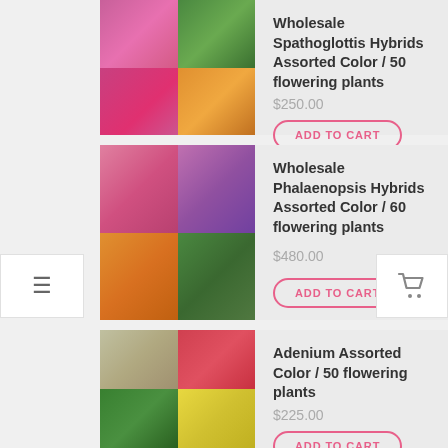[Figure (photo): Collage of Spathoglottis hybrid orchids in assorted colors]
Wholesale Spathoglottis Hybrids Assorted Color / 50 flowering plants
$250.00
ADD TO CART
[Figure (photo): Collage of Phalaenopsis hybrid orchids in assorted colors]
Wholesale Phalaenopsis Hybrids Assorted Color / 60 flowering plants
$480.00
ADD TO CART
[Figure (photo): Collage of Adenium flowering plants in assorted colors]
Adenium Assorted Color / 50 flowering plants
$225.00
ADD TO CART